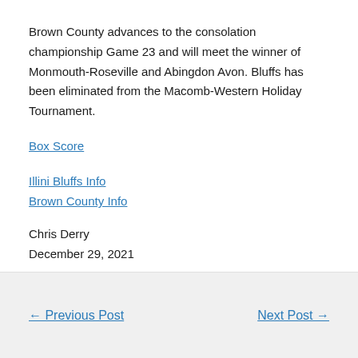Brown County advances to the consolation championship Game 23 and will meet the winner of Monmouth-Roseville and Abingdon Avon. Bluffs has been eliminated from the Macomb-Western Holiday Tournament.
Box Score
Illini Bluffs Info
Brown County Info
Chris Derry
December 29, 2021
← Previous Post    Next Post →